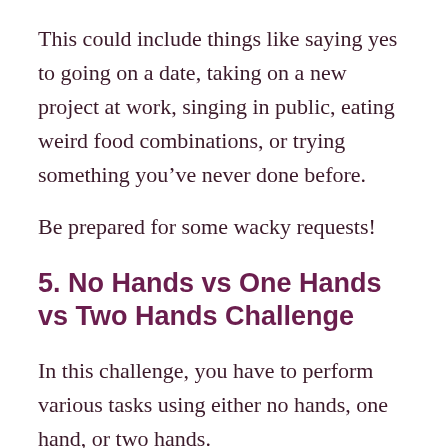This could include things like saying yes to going on a date, taking on a new project at work, singing in public, eating weird food combinations, or trying something you’ve never done before.
Be prepared for some wacky requests!
5. No Hands vs One Hands vs Two Hands Challenge
In this challenge, you have to perform various tasks using either no hands, one hand, or two hands.